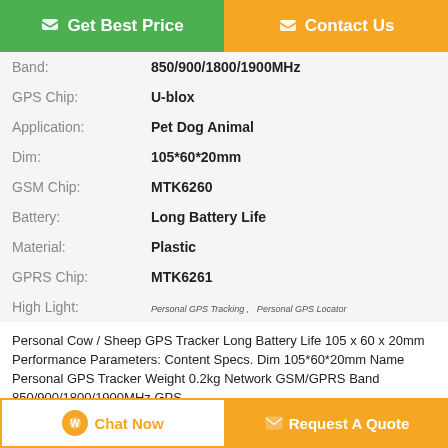[Figure (other): Get Best Price button (green) and Contact Us button (orange) at the top]
| Band: | 850/900/1800/1900MHz |
| GPS Chip: | U-blox |
| Application: | Pet Dog Animal |
| Dim: | 105*60*20mm |
| GSM Chip: | MTK6260 |
| Battery: | Long Battery Life |
| Material: | Plastic |
| GPRS Chip: | MTK6261 |
| High Light: | Personal GPS Tracking ,  Personal GPS Locator |
Personal Cow / Sheep GPS Tracker Long Battery Life 105 x 60 x 20mm Performance Parameters: Content Specs. Dim 105*60*20mm Name Personal GPS Tracker Weight 0.2kg Network GSM/GPRS Band 850/900/1800/1900MHz GPS ...
Tags: Personal GPS Locator , Personal GPS Tracker Device , Personal GPS Tracking
[Figure (other): Chat Now button (white/orange outline) and Request A Quote button (orange) at the bottom]